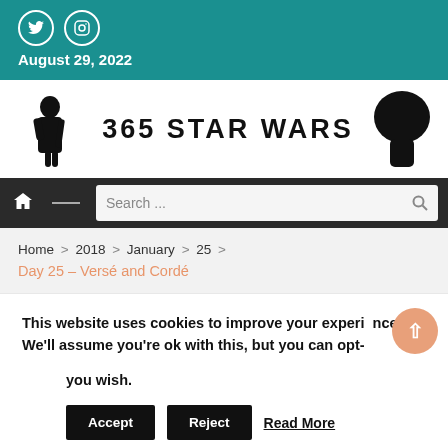August 29, 2022
[Figure (logo): 365 Star Wars logo with two character silhouettes on either side of the text '365 STAR WARS']
[Figure (screenshot): Navigation bar with home icon, divider, and search box]
Home > 2018 > January > 25 > Day 25 – Versé and Cordé
This website uses cookies to improve your experience. We'll assume you're ok with this, but you can opt-out if you wish.
Accept  Reject  Read More